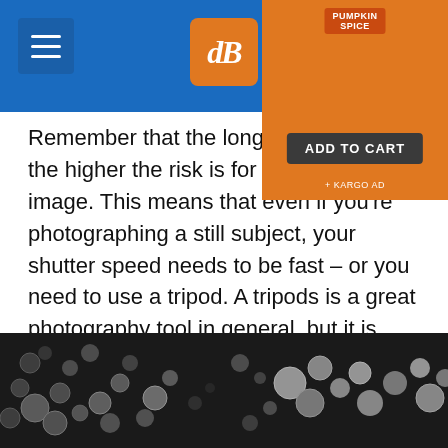dPS digital photography school
[Figure (other): Advertisement overlay: pumpkin spice product with orange background, ADD TO CART button, + KARGO AD label]
Remember that the longer focal length, the higher the risk is for getting a shaky image. This means that even if you’re photographing a still subject, your shutter speed needs to be fast – or you need to use a tripod. A tripods is a great photography tool in general, but it is especially useful in macro photography, where there might not be enough light due to the setup and the small field of view. Here, a tripod is essential.
[Figure (photo): Black and white macro photograph showing close-up of small rounded bubble or seed-like textures]